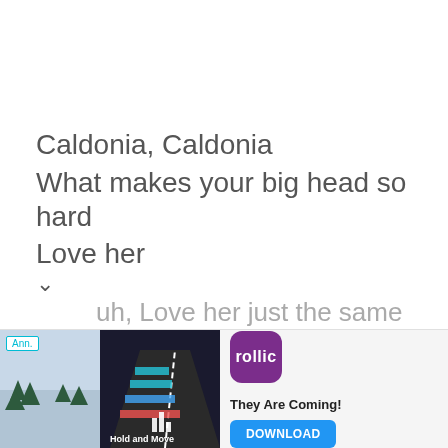Caldonia, Caldonia
What makes your big head so hard
Love her
uh, Love her just the same
[Figure (screenshot): Advertisement banner at the bottom of the page. Left side shows a game called 'Hold and Move' with road/pyramid graphic and 'Ann.' badge. Right side shows Rollic app icon in purple, text 'They Are Coming!' and a blue DOWNLOAD button.]